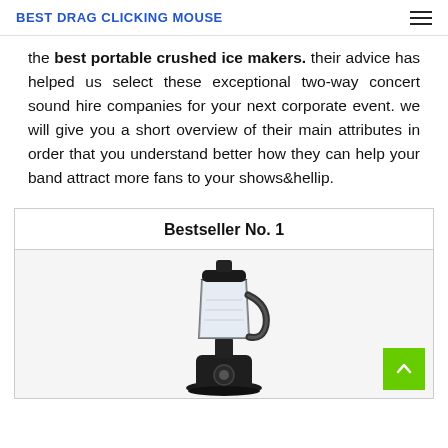BEST DRAG CLICKING MOUSE
the best portable crushed ice makers. their advice has helped us select these exceptional two-way concert sound hire companies for your next corporate event. we will give you a short overview of their main attributes in order that you understand better how they can help your band attract more fans to your shows&hellip.
Bestseller No. 1
[Figure (photo): Photo of a black blender/soup maker appliance on a light gray background]